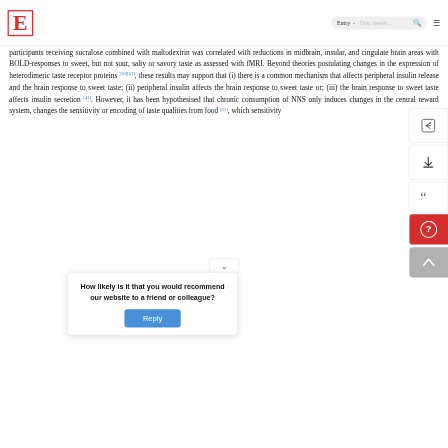E | Entry ˅  [Title, description...] 🔍  ≡
participants receiving sucralose combined with maltodextrin was correlated with reductions in midbrain, insular, and cingulate brain areas with BOLD-responses to sweet, but not sour, salty or savory taste as assessed with fMRI. Beyond theories postulating changes in the expression of heterodimeric taste receptor proteins [50][51], these results may support that (i) there is a common mechanism that affects peripheral insulin release and the brain response to sweet taste; (ii) peripheral insulin affects the brain response to sweet taste or; (iii) the brain response to sweet taste affects insulin secretion [41]. However, it has been hypothesised that chronic consumption of NNS only induces changes in the central reward system, changes the sensitivity or encoding of taste qualities from food [52], which
How likely is it that you would recommend our website to a friend or colleague?
Reply